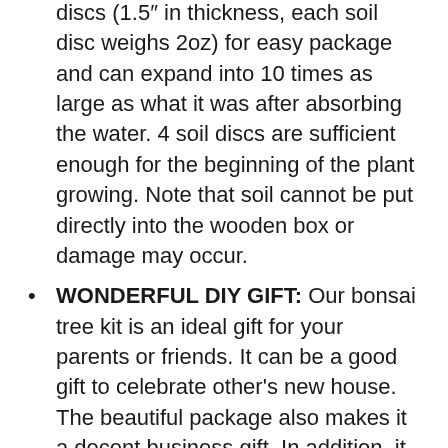discs (1.5″ in thickness, each soil disc weighs 2oz) for easy package and can expand into 10 times as large as what it was after absorbing the water. 4 soil discs are sufficient enough for the beginning of the plant growing. Note that soil cannot be put directly into the wooden box or damage may occur.
WONDERFUL DIY GIFT: Our bonsai tree kit is an ideal gift for your parents or friends. It can be a good gift to celebrate other's new house. The beautiful package also makes it a decent business gift. In addition, it could be used to cultivate patience, while at the same time make you relax and return to calm, and even give you